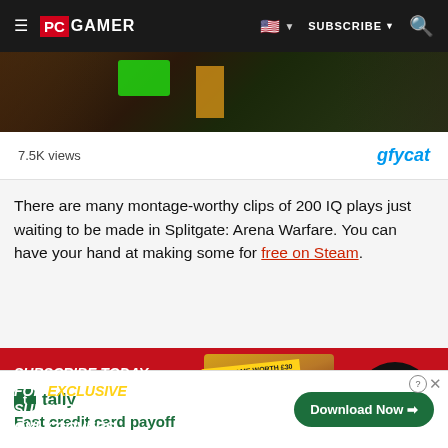PC GAMER | SUBSCRIBE
[Figure (screenshot): Video thumbnail from Splitgate: Arena Warfare gameplay showing dark scene with green and yellow elements]
7.5K views
gfycat
There are many montage-worthy clips of 200 IQ plays just waiting to be made in Splitgate: Arena Warfare. You can have your hand at making some for free on Steam.
[Figure (infographic): PC Gamer magazine subscription banner: SUBSCRIBE TODAY FOR EXCLUSIVE SUBSCRIBER ONLY COVERS | SAVE UP TO 51%]
[Figure (infographic): Tally app advertisement: Fast credit card payoff | Download Now]